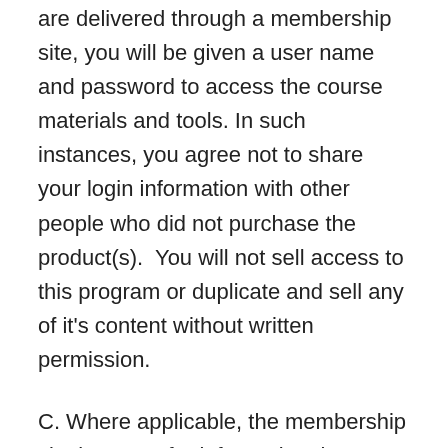are delivered through a membership site, you will be given a user name and password to access the course materials and tools. In such instances, you agree not to share your login information with other people who did not purchase the product(s).  You will not sell access to this program or duplicate and sell any of it's content without written permission.
C. Where applicable, the membership site is meant for informational purposes only. It is not intended as specific medical, legal, commercial, financial, tax or other professional advice. Use of the information on the membership site and this web site are at your own risk.